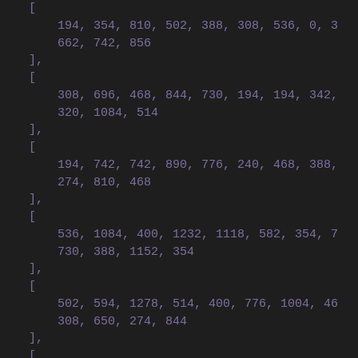[
        194, 354, 810, 502, 388, 308, 536, 0, 3
        662, 742, 856
    ],
    [
        308, 696, 468, 844, 730, 194, 194, 342,
        320, 1084, 514
    ],
    [
        194, 742, 742, 890, 776, 240, 468, 388,
        274, 810, 468
    ],
    [
        536, 1084, 400, 1232, 1118, 582, 354, 7
        730, 388, 1152, 354
    ],
    [
        502, 594, 1278, 514, 400, 776, 1004, 46
        308, 650, 274, 844
    ],
    [
        388, 480, 1164, 628, 514, 662, 890, 354